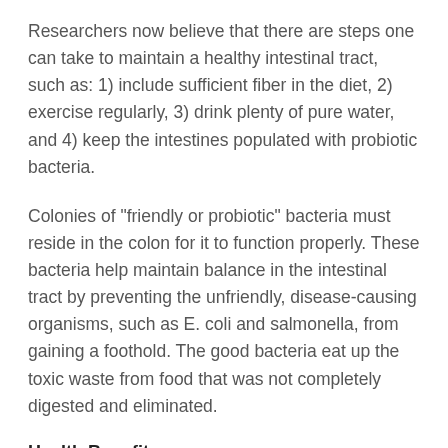Researchers now believe that there are steps one can take to maintain a healthy intestinal tract, such as: 1) include sufficient fiber in the diet, 2) exercise regularly, 3) drink plenty of pure water, and 4) keep the intestines populated with probiotic bacteria.
Colonies of "friendly or probiotic" bacteria must reside in the colon for it to function properly. These bacteria help maintain balance in the intestinal tract by preventing the unfriendly, disease-causing organisms, such as E. coli and salmonella, from gaining a foothold. The good bacteria eat up the toxic waste from food that was not completely digested and eliminated.
Health Benefits